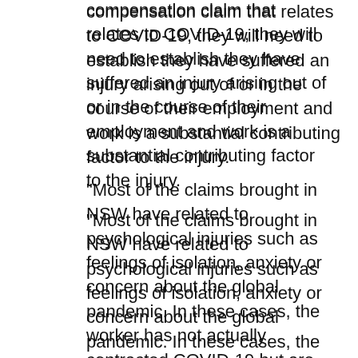compensation claim that relates to COVID-19, they will need to establish they have suffered an injury arising out of or in the course of their employment and work is a substantial contributing factor to the injury.
“Most of the claims brought in NSW have related to psychological injuries such as feelings of isolation, anxiety or concern about the global pandemic. In these cases, the worker has not actually contracted COVID-19 but are dealing with mental illnesses that relate to COVID-19,” explains Steadfast technical broking manager Annette O’Brien.
Employers need to be careful calculating weekly workers’ compensation payments where a worker has been stood down from work due to COVID-19.
“Have regard to the employee’s current circumstances, and not what was occurring before the pandemic,” the report states.